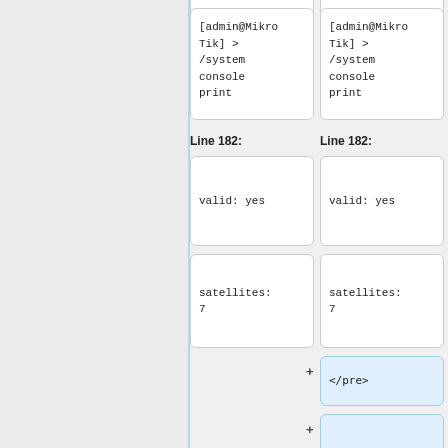[Figure (screenshot): Diff view showing two columns. Left column has code boxes with '[admin@MikroTik] > /system console print', then Line 182 label, 'valid: yes' box, 'satellites: 7' box. Right column mirrors left but adds three blue highlighted lines with '+' markers containing '</pre>', blank, blank, and a 'Port and GPS' box at bottom.]